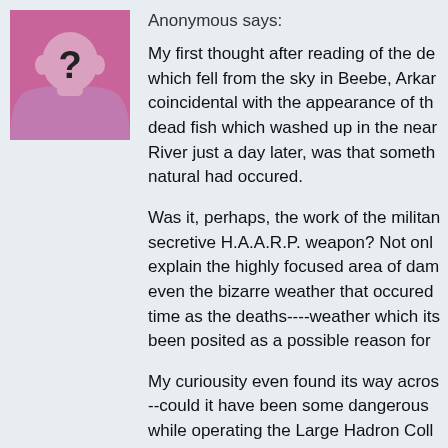[Figure (illustration): Anonymous user avatar: a stylized silhouette of a person with a question mark, pink/mauve background]
Anonymous says:
My first thought after reading of the de which fell from the sky in Beebe, Arkar coincidental with the appearance of th dead fish which washed up in the near River just a day later, was that someth natural had occured.

Was it, perhaps, the work of the militan secretive H.A.A.R.P. weapon? Not onl explain the highly focused area of dam even the bizarre weather that occured time as the deaths----weather which its been posited as a possible reason for

My curiousity even found its way acros --could it have been some dangerous while operating the Large Hadron Coll